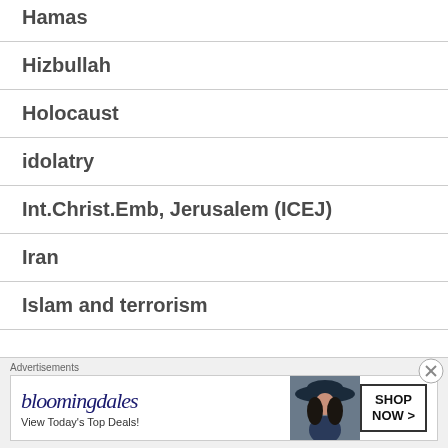Hamas
Hizbullah
Holocaust
idolatry
Int.Christ.Emb, Jerusalem (ICEJ)
Iran
Islam and terrorism
[Figure (other): Bloomingdale's advertisement banner: 'View Today's Top Deals! SHOP NOW >' with woman in hat image]
Advertisements